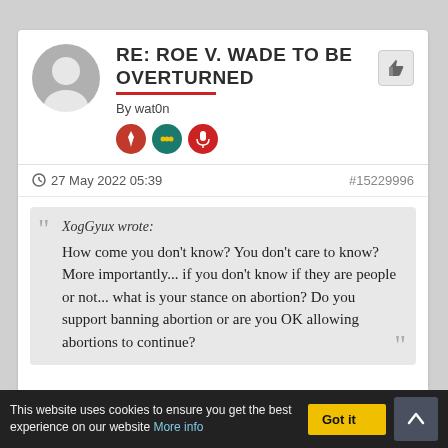RE: ROE V. WADE TO BE OVERTURNED
By wat0n
- 27 May 2022 05:39   #15229996
XogGyux wrote: How come you don't know? You don't care to know? More importantly... if you don't know if they are people or not... what is your stance on abortion? Do you support banning abortion or are you OK allowing abortions to continue?
It depends, really.
This website uses cookies to ensure you get the best experience on our website More info